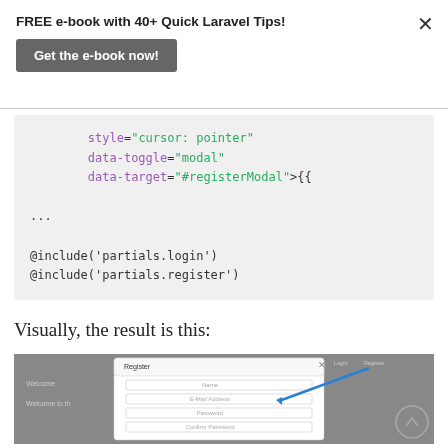FREE e-book with 40+ Quick Laravel Tips!
Get the e-book now!
[Figure (screenshot): Code snippet showing HTML attributes: style="cursor: pointer", data-toggle="modal", data-target="#registerModal">{{, ..., @include('partials.login'), @include('partials.register')]
Visually, the result is this:
[Figure (screenshot): Screenshot of a Register modal dialog with fields for Name, E-Mail Address, Password, Confirm Password, and a blue arrow pointing to the Register link in the navigation.]